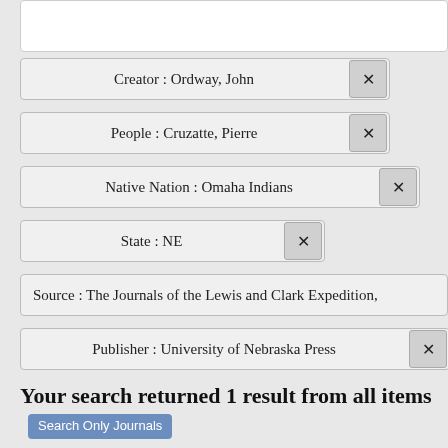Creator : Ordway, John
People : Cruzatte, Pierre
Native Nation : Omaha Indians
State : NE
Source : The Journals of the Lewis and Clark Expedition,
Publisher : University of Nebraska Press
Your search returned 1 result from all items Search Only Journals